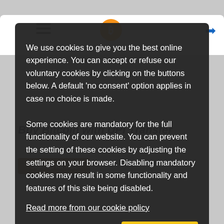[Figure (screenshot): Website header with hamburger menu, Bitcoin logo icon, and login arrow button. Behind the overlay: 'Buy Bitcoin with UPI Transfer' page title, 'Sign up for free' button, and bank transfer options text.]
We use cookies to give you the best online experience. You can accept or refuse our voluntary cookies by clicking on the buttons below. A default 'no consent' option applies in case no choice is made.
Some cookies are mandatory for the full functionality of our website. You can prevent the setting of these cookies by adjusting the settings on your browser. Disabling mandatory cookies may result in some functionality and features of this site being disabled.
Read more from our cookie policy
Reject voluntary cookies
Accept